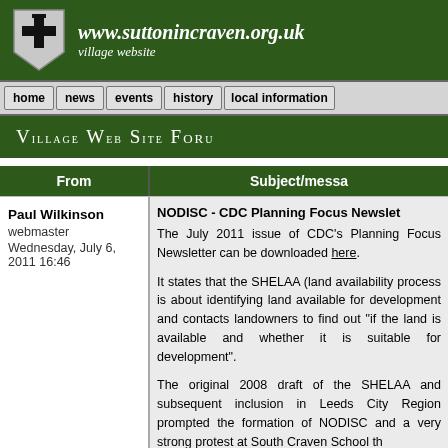[Figure (logo): Sutton-in-Craven village website logo with cross shield and italic URL text www.suttonincraven.org.uk village website on dark green background]
home | news | events | history | local information
Village Web Site Forum
| From | Subject/message |
| --- | --- |
| Paul Wilkinson
webmaster
Wednesday, July 6, 2011 16:46 | NODISC - CDC Planning Focus Newsletter
The July 2011 issue of CDC's Planning Focus Newsletter can be downloaded here.

It states that the SHELAA (land availability) process is about identifying land available for development and contacts landowners to find out "if the land is available and whether it is suitable for development".

The original 2008 draft of the SHELAA and subsequent inclusion in Leeds City Region prompted the formation of NODISC and a very strong protest at South Craven School th... |